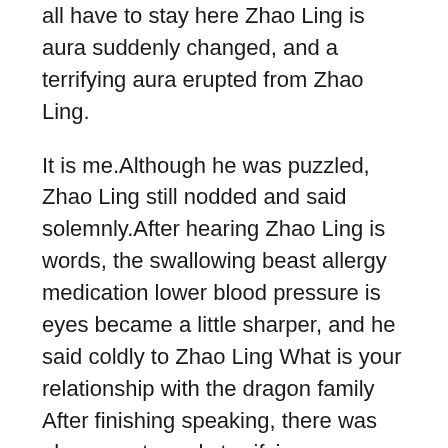all have to stay here Zhao Ling is aura suddenly changed, and a terrifying aura erupted from Zhao Ling.
It is me.Although he was puzzled, Zhao Ling still nodded and said solemnly.After hearing Zhao Ling is words, the swallowing beast allergy medication lower blood pressure is eyes became a little sharper, and he said coldly to Zhao Ling What is your relationship with the dragon family After finishing speaking, there was also an extremely terrifying aura coming out of the swallowing beast.
Zhao Lingsen looked at the two demons coldly, and then threw them in at their horrified opened mouths.
That eight foot snake spear.Boom.The shocking sound of the explosion immediately spread throughout the entire Demon Race, and the powerful impact completely destroyed the Demon Race is stronghold castle like an overwhelming force.